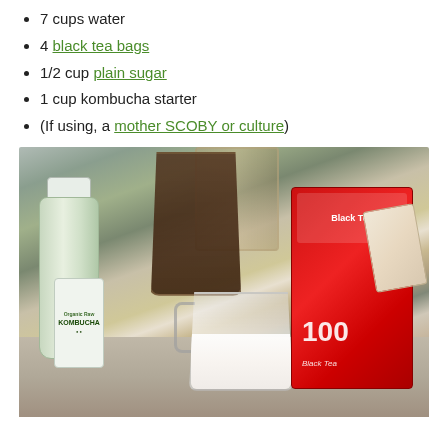7 cups water
4 black tea bags
1/2 cup plain sugar
1 cup kombucha starter
(If using, a mother SCOBY or culture)
[Figure (photo): Photo of kombucha brewing ingredients on a kitchen counter: a bottle of Organic Raw Kombucha, a glass of dark liquid (tea), a measuring cup with white sugar, and a red box of Black Tea (100 bags).]